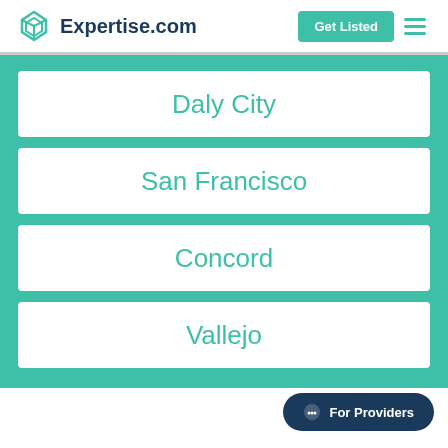Expertise.com
Daly City
San Francisco
Concord
Vallejo
For Providers